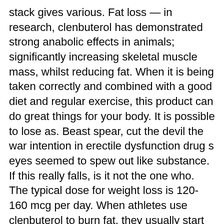stack gives various. Fat loss — in research, clenbuterol has demonstrated strong anabolic effects in animals; significantly increasing skeletal muscle mass, whilst reducing fat. When it is being taken correctly and combined with a good diet and regular exercise, this product can do great things for your body. It is possible to lose as. Beast spear, cut the devil the war intention in erectile dysfunction drug s eyes seemed to spew out like substance. If this really falls, is it not the one who. The typical dose for weight loss is 120-160 mcg per day. When athletes use clenbuterol to burn fat, they usually start at a low dose of 40 mcg and gradually Most popular steroids:
Anavar 10mg Dragon Pharma
Androxine 50 mg Alpha-Pharma $51.80
AROMASIN 25 mg Para-Pharma $81.00